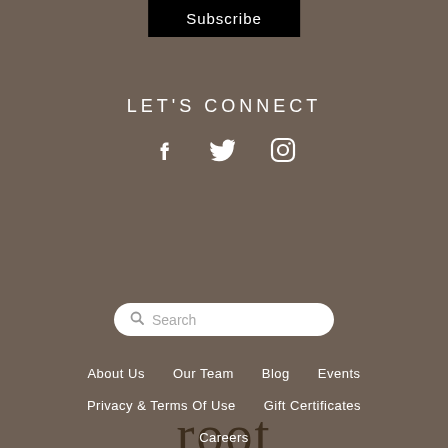Subscribe
LET'S CONNECT
[Figure (infographic): Social media icons: Facebook, Twitter, Instagram]
[Figure (logo): Root whole body logo — stylized 'root' text with 'whole body' in orange italic]
Search
About Us
Our Team
Blog
Events
Privacy & Terms Of Use
Gift Certificates
Careers